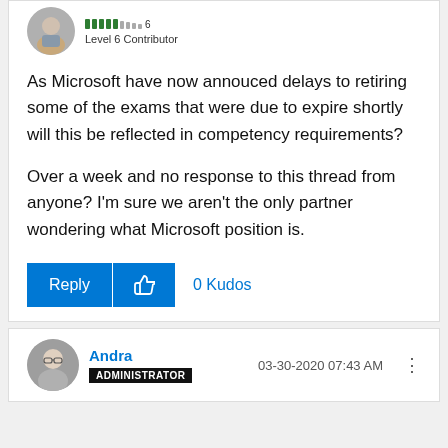[Figure (illustration): Avatar of a user, circular photo of a man, with level bar indicator showing Level 6 Contributor]
Level 6 Contributor
As Microsoft have now annouced delays to retiring some of the exams that were due to expire shortly will this be reflected in competency requirements?

Over a week and no response to this thread from anyone? I'm sure we aren't the only partner wondering what Microsoft position is.
[Figure (screenshot): Reply button and Kudo thumbs-up button, with 0 Kudos count]
[Figure (illustration): Avatar of user Andra, circular photo of a woman with glasses]
Andra
03-30-2020 07:43 AM
ADMINISTRATOR